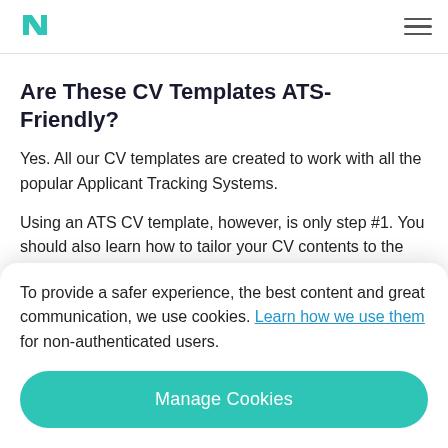N [logo] | hamburger menu
Are These CV Templates ATS-Friendly?
Yes. All our CV templates are created to work with all the popular Applicant Tracking Systems.
Using an ATS CV template, however, is only step #1. You should also learn how to tailor your CV contents to the job you're applying for. To learn more about how to do this, check out our guide on creating an ATS-friendly resume.
To provide a safer experience, the best content and great communication, we use cookies. Learn how we use them for non-authenticated users.
Manage Cookies